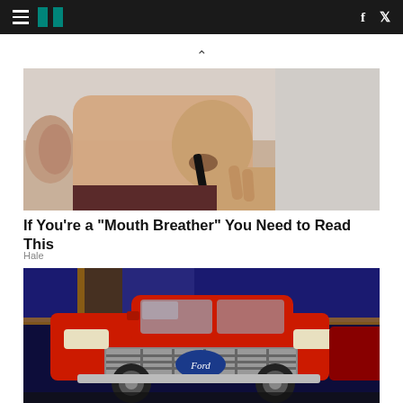HuffPost navigation bar with hamburger menu, logo, facebook and twitter icons
[Figure (photo): Close-up photo of a young man with short hair inserting or using a small black device in his nostril, held between his fingers]
If You're a "Mouth Breather" You Need to Read This
Hale
[Figure (photo): Photo of a red Ford truck (F-series) on display at what appears to be an auto show, with blue and golden decorative background lighting]